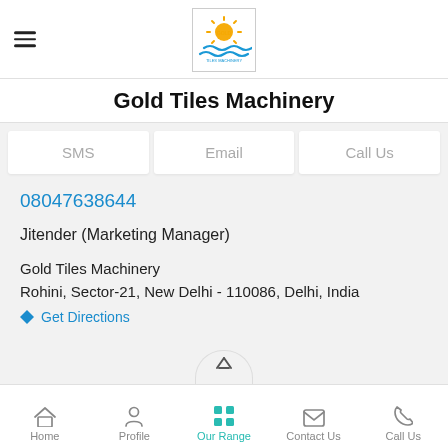[Figure (logo): Gold Tiles Machinery logo: sun above waves with company name]
Gold Tiles Machinery
SMS | Email | Call Us
08047638644
Jitender (Marketing Manager)
Gold Tiles Machinery
Rohini, Sector-21, New Delhi - 110086, Delhi, India
Get Directions
Home  Profile  Our Range  Contact Us  Call Us